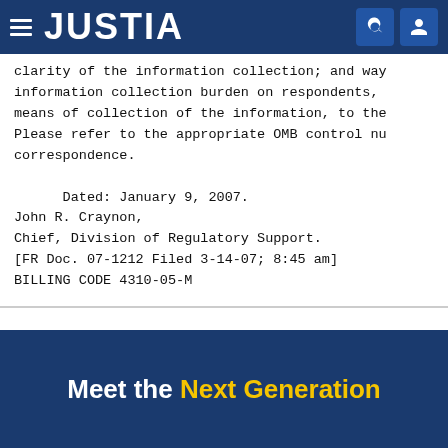JUSTIA
clarity of the information collection; and way information collection burden on respondents, means of collection of the information, to the Please refer to the appropriate OMB control nu correspondence.

      Dated: January 9, 2007.
John R. Craynon,
Chief, Division of Regulatory Support.
[FR Doc. 07-1212 Filed 3-14-07; 8:45 am]
BILLING CODE 4310-05-M
Meet the Next Generation